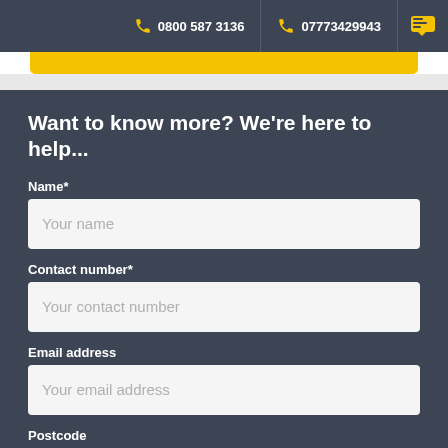0800 587 3136   07773429943
Want to know more? We're here to help...
Name*
Your name
Contact number*
Your contact number
Email address
Your email address
Postcode